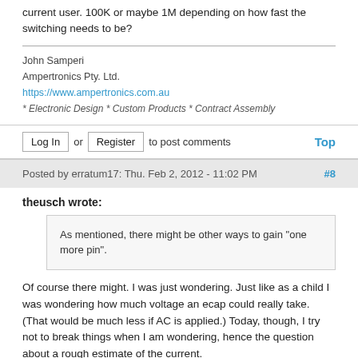current user. 100K or maybe 1M depending on how fast the switching needs to be?
John Samperi
Ampertronics Pty. Ltd.
https://www.ampertronics.com.au
* Electronic Design * Custom Products * Contract Assembly
Log In or Register to post comments   Top
Posted by erratum17: Thu. Feb 2, 2012 - 11:02 PM   #8
theusch wrote:
As mentioned, there might be other ways to gain "one more pin".
Of course there might. I was just wondering. Just like as a child I was wondering how much voltage an ecap could really take. (That would be much less if AC is applied.) Today, though, I try not to break things when I am wondering, hence the question about a rough estimate of the current.
So I think I'll give the FET a try.
Thanks!